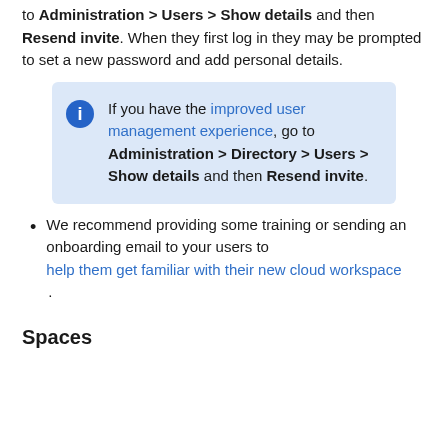to Administration > Users > Show details and then Resend invite. When they first log in they may be prompted to set a new password and add personal details.
If you have the improved user management experience, go to Administration > Directory > Users > Show details and then Resend invite.
We recommend providing some training or sending an onboarding email to your users to help them get familiar with their new cloud workspace.
Spaces